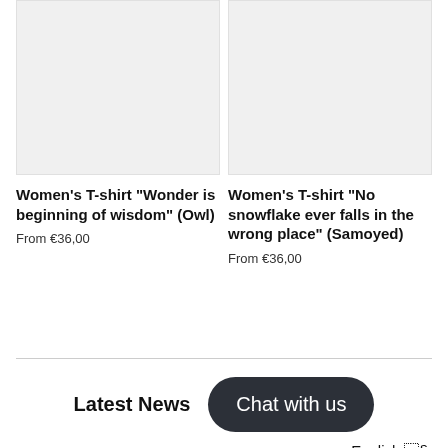[Figure (photo): Product image placeholder for Women's T-shirt Owl, light grey background]
[Figure (photo): Product image placeholder for Women's T-shirt Samoyed, light grey background]
Women's T-shirt "Wonder is beginning of wisdom" (Owl)
From €36,00
Women's T-shirt "No snowflake ever falls in the wrong place" (Samoyed)
From €36,00
Latest News
Chat with us
English ∧